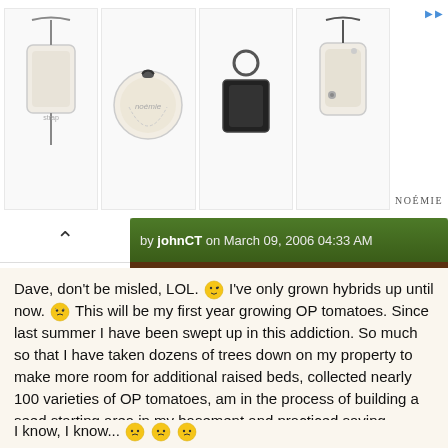[Figure (photo): Advertisement banner showing four Noémie leather accessories: a crossbody phone case, a round coin purse, a square key fob, and a phone case with strap, on white background. NOÉMIE brand name on right side.]
by johnCT on March 09, 2006 04:33 AM
Dave, don't be misled, LOL. 😉 I've only grown hybrids up until now. 😵 This will be my first year growing OP tomatoes. Since last summer I have been swept up in this addiction. So much so that I have taken dozens of trees down on my property to make more room for additional raised beds, collected nearly 100 varieties of OP tomatoes, am in the process of building a seed starting area in my basement and practiced saving tomato seed with store bought fruit! I have also read almost everything there is to read on the subject.

I know, I know... 🙄🙄🙄

I have plans for about 50 plants...